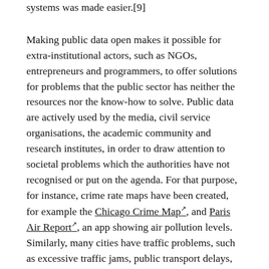systems was made easier.[9]
Making public data open makes it possible for extra-institutional actors, such as NGOs, entrepreneurs and programmers, to offer solutions for problems that the public sector has neither the resources nor the know-how to solve. Public data are actively used by the media, civil service organisations, the academic community and research institutes, in order to draw attention to societal problems which the authorities have not recognised or put on the agenda. For that purpose, for instance, crime rate maps have been created, for example the Chicago Crime Map, and Paris Air Report, an app showing air pollution levels. Similarly, many cities have traffic problems, such as excessive traffic jams, public transport delays, bad infrastructure, lack of car parks, etc. To respond to this, a group of activists in Warsaw decided to create an application which informs public transport users every time there has been a delay.[9] Similarly, the app Carambla has been developed in Belgium to help drivers locate, reserve